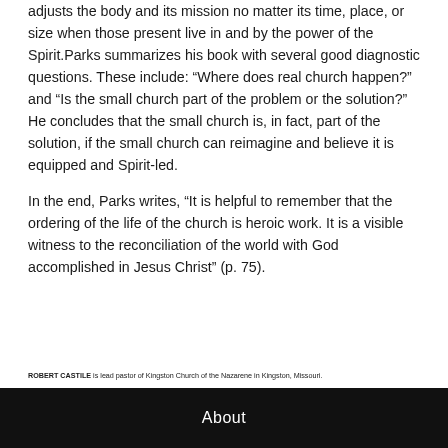adjusts the body and its mission no matter its time, place, or size when those present live in and by the power of the Spirit.Parks summarizes his book with several good diagnostic questions. These include: “Where does real church happen?” and “Is the small church part of the problem or the solution?” He concludes that the small church is, in fact, part of the solution, if the small church can reimagine and believe it is equipped and Spirit-led.
In the end, Parks writes, “It is helpful to remember that the ordering of the life of the church is heroic work. It is a visible witness to the reconciliation of the world with God accomplished in Jesus Christ” (p. 75).
ROBERT CASTILE is lead pastor of Kingston Church of the Nazarene in Kingston, Missouri.
About